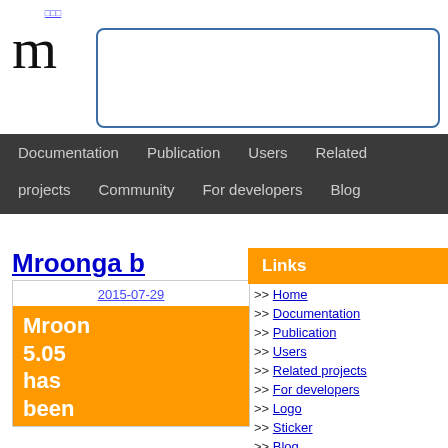□□□ m [search box]
Documentation  Publication  Users  Related projects  Community  For developers  Blog
Mroonga b
2015-07-29
Mroonga 5.05 has been
Links
>> Home
>> Documentation
>> Publication
>> Users
>> Related projects
>> For developers
>> Logo
>> Sticker
>> Blog